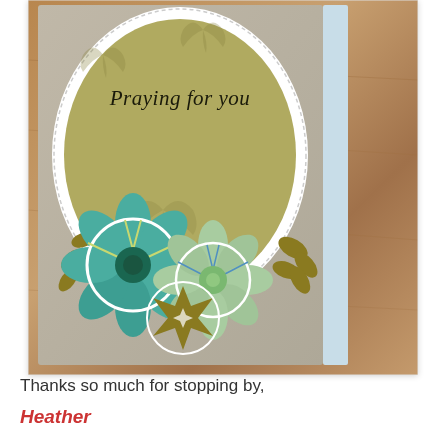[Figure (photo): A handmade greeting card with a white oval frame on a khaki/taupe background. Inside the oval is an olive green ellipse with butterfly silhouettes and the cursive text 'Praying for you'. Below the oval are decorative paper flowers in teal, green, and olive/gold colors with leaf embellishments. The card has a light blue strip on the right edge and is photographed on a wooden surface.]
Thanks so much for stopping by,
Heather